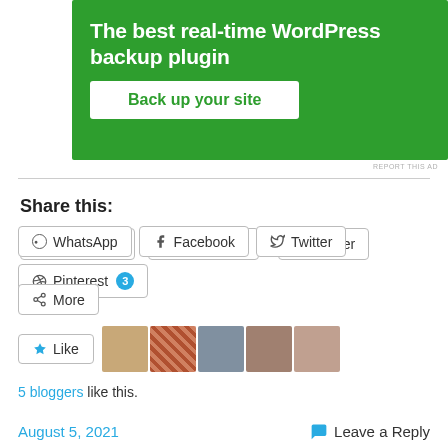[Figure (illustration): Green advertisement banner for a WordPress backup plugin with text 'The best real-time WordPress backup plugin' and a white button 'Back up your site']
REPORT THIS AD
Share this:
WhatsApp
Facebook
Twitter
Pinterest 3
More
Like
5 bloggers like this.
August 5, 2021
Leave a Reply